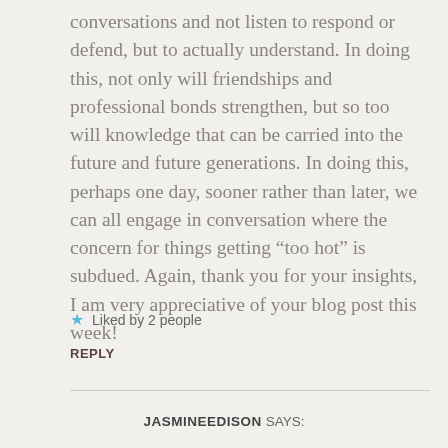conversations and not listen to respond or defend, but to actually understand. In doing this, not only will friendships and professional bonds strengthen, but so too will knowledge that can be carried into the future and future generations. In doing this, perhaps one day, sooner rather than later, we can all engage in conversation where the concern for things getting “too hot” is subdued. Again, thank you for your insights, I am very appreciative of your blog post this week!
★ Liked by 2 people
REPLY
JASMINEEDISON SAYS: